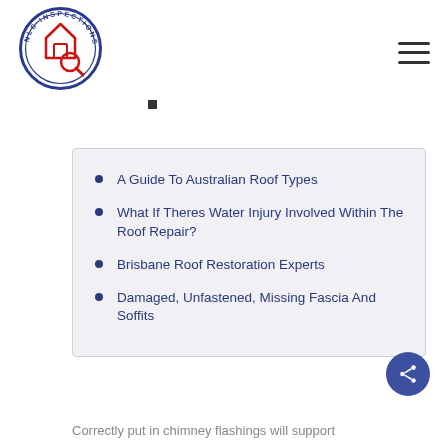[Figure (logo): NLS Inspections circular logo with house icon and magnifying glass]
A Guide To Australian Roof Types
What If Theres Water Injury Involved Within The Roof Repair?
Brisbane Roof Restoration Experts
Damaged, Unfastened, Missing Fascia And Soffits
Correctly put in chimney flashings will support